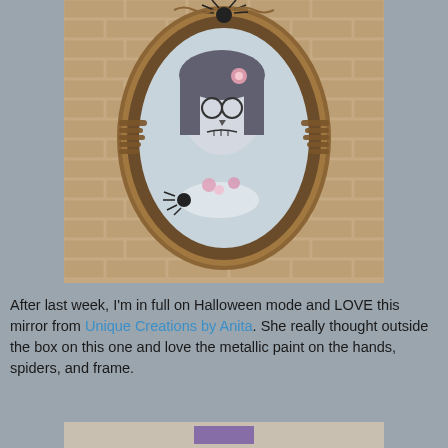[Figure (photo): A decorative oval mirror mounted on a brick wall. The mirror features a sugar skull woman illustration with flowers in her hair. The frame is ornate bronze/metallic with skeletal hands and spiders attached to the sides. The background shows a brick wall.]
After last week, I'm in full on Halloween mode and LOVE this mirror from Unique Creations by Anita. She really thought outside the box on this one and love the metallic paint on the hands, spiders, and frame.
[Figure (photo): Partial view of another item at the bottom of the page, partially cut off.]